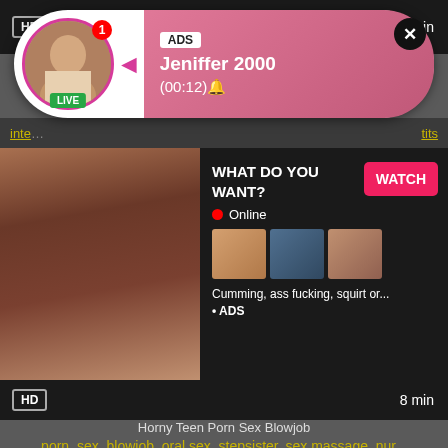[Figure (screenshot): Adult website screenshot with popup ad showing 'Jeniffer 2000' live cam notification with profile photo and pink gradient bubble, HD video thumbnail of adult content, 'WHAT DO YOU WANT? WATCH' ad banner with Online status and thumbnail images, duration labels '5 min' and '8 min', HD badges, title 'Horny Teen Porn Sex Blowjob', tag links 'porn, sex, blowjob, oral sex, stepsister, sex massage, nur...']